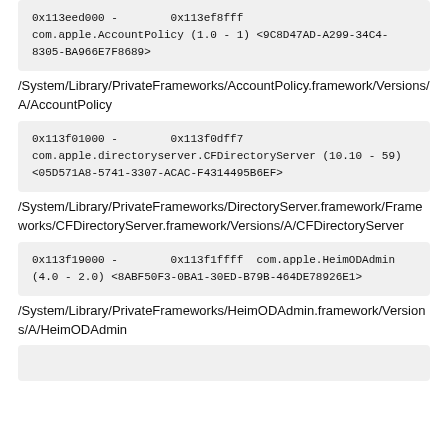0x113eed000 -        0x113ef8fff com.apple.AccountPolicy (1.0 - 1) <9C8D47AD-A299-34C4-8305-BA966E7F8689>
/System/Library/PrivateFrameworks/AccountPolicy.framework/Versions/A/AccountPolicy
0x113f01000 -        0x113f0dff7 com.apple.directoryserver.CFDirectoryServer (10.10 - 59) <05D571A8-5741-3307-ACAC-F4314495B6EF>
/System/Library/PrivateFrameworks/DirectoryServer.framework/Frameworks/CFDirectoryServer.framework/Versions/A/CFDirectoryServer
0x113f19000 -        0x113f1ffff  com.apple.HeimODAdmin (4.0 - 2.0) <8ABF50F3-0BA1-30ED-B79B-464DE78926E1>
/System/Library/PrivateFrameworks/HeimODAdmin.framework/Versions/A/HeimODAdmin